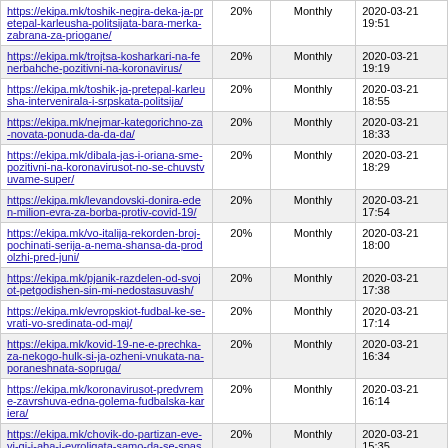| URL | Priority | Change Frequency | Last Modified |
| --- | --- | --- | --- |
| https://ekipa.mk/toshik-negira-deka-ja-pretepal-karleusha-politsijata-bara-merka-zabrana-za-priogane/ | 20% | Monthly | 2020-03-21 19:51 |
| https://ekipa.mk/trojtsa-kosharkari-na-fenerbahche-pozitivni-na-koronavirus/ | 20% | Monthly | 2020-03-21 19:19 |
| https://ekipa.mk/toshik-ja-pretepal-karleusha-intervenirala-i-srpskata-politsija/ | 20% | Monthly | 2020-03-21 18:55 |
| https://ekipa.mk/nejmar-kategorichno-za-novata-ponuda-da-da-da/ | 20% | Monthly | 2020-03-21 18:33 |
| https://ekipa.mk/dibala-jas-i-oriana-sme-pozitivni-na-koronavirusot-no-se-chuvstvuvame-super/ | 20% | Monthly | 2020-03-21 18:29 |
| https://ekipa.mk/levandovski-donira-eden-milion-evra-za-borba-protiv-covid-19/ | 20% | Monthly | 2020-03-21 17:54 |
| https://ekipa.mk/vo-italija-rekorden-broj-pochinati-serija-a-nema-shansa-da-prodolzhi-pred-juni/ | 20% | Monthly | 2020-03-21 18:00 |
| https://ekipa.mk/pjanik-razdelen-od-svojot-petgodishen-sin-mi-nedostasuvash/ | 20% | Monthly | 2020-03-21 17:38 |
| https://ekipa.mk/evropskiot-fudbal-ke-se-vrati-vo-sredinata-od-maj/ | 20% | Monthly | 2020-03-21 17:14 |
| https://ekipa.mk/kovid-19-ne-e-prechka-za-nekogo-hulk-si-ja-ozheni-vnukata-na-poraneshnata-sopruga/ | 20% | Monthly | 2020-03-21 16:34 |
| https://ekipa.mk/koronavirusot-predvreme-zavrshuva-edna-golema-fudbalska-kariera/ | 20% | Monthly | 2020-03-21 16:14 |
| https://ekipa.mk/chovik-do-partizan-eve-vi-gi-i-aba-i-evroligata-samo-da-se-spasat-zhivoti/ | 20% | Monthly | 2020-03-21 15:35 |
| https://ekipa.mk/sportskite-sali-i-vo-makedonija-ke-stanat-bolnitsi-ako-dramatichno-se-zgolemuva-brojot-na-zaboleni/ | 20% | Monthly | 2020-03-21 15:17 |